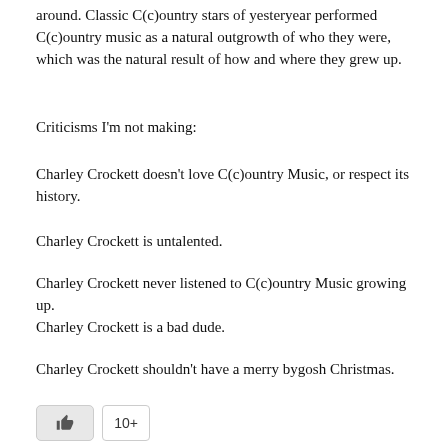around. Classic C(c)ountry stars of yesteryear performed C(c)ountry music as a natural outgrowth of who they were, which was the natural result of how and where they grew up.
Criticisms I'm not making:
Charley Crockett doesn't love C(c)ountry Music, or respect its history.
Charley Crockett is untalented.
Charley Crockett never listened to C(c)ountry Music growing up.
Charley Crockett is a bad dude.
Charley Crockett shouldn't have a merry bygosh Christmas.
David
DECEMBER 23, 2021 @ 11:52 AM
The thing is your complaints about him have little merit. What does his public persona got to do with anything. Far as
REPLY